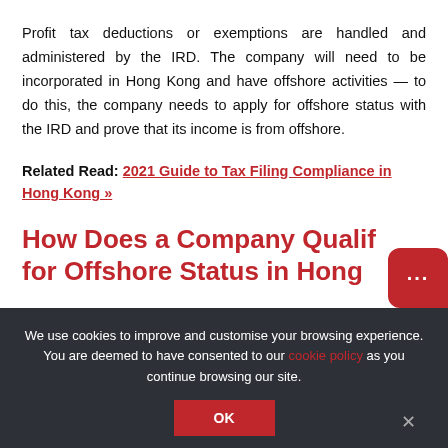Profit tax deductions or exemptions are handled and administered by the IRD. The company will need to be incorporated in Hong Kong and have offshore activities — to do this, the company needs to apply for offshore status with the IRD and prove that its income is from offshore.
Related Read: 2021 Guide to Tax Filing Compliance in Hong Kong »
How Does a Company Qualify for Offshore Status in Hong
We use cookies to improve and customise your browsing experience. You are deemed to have consented to our cookie policy as you continue browsing our site.